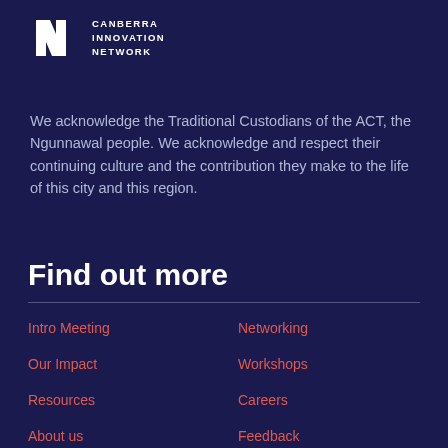[Figure (logo): Canberra Innovation Network logo — white stylized 'IN' lettermark with text 'CANBERRA INNOVATION NETWORK' to the right]
We acknowledge the Traditional Custodians of the ACT, the Ngunnawal people. We acknowledge and respect their continuing culture and the contribution they make to the life of this city and this region.
Find out more
Intro Meeting
Networking
Our Impact
Workshops
Resources
Careers
About us
Feedback